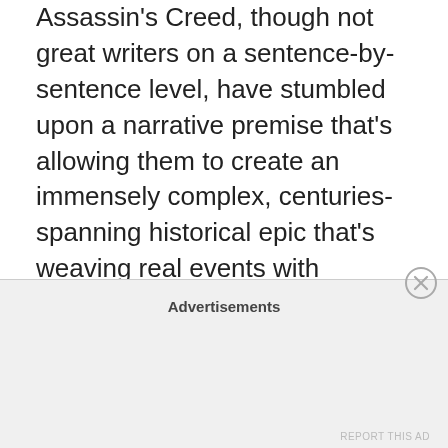Assassin's Creed, though not great writers on a sentence-by-sentence level, have stumbled upon a narrative premise that's allowing them to create an immensely complex, centuries-spanning historical epic that's weaving real events with fictional historical revisionisms and metafictions in a fascinating way. Assassin's Creed has also given us Islamic main characters, a black French former-slave protagonist, an old man falling in love, and a native American of mixed heritage… so much more diverse and interesting than much of what novelistic mainstream genre fiction publishers seem comfortable with today.
Advertisements